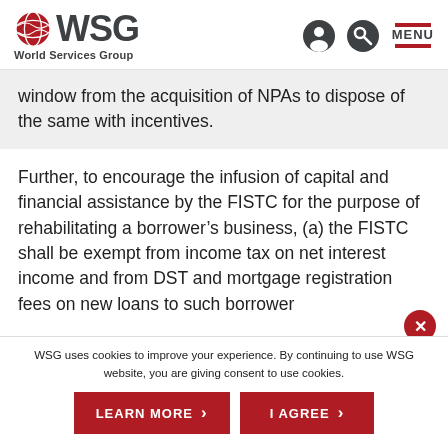WSG World Services Group
window from the acquisition of NPAs to dispose of the same with incentives.
Further, to encourage the infusion of capital and financial assistance by the FISTC for the purpose of rehabilitating a borrower’s business, (a) the FISTC shall be exempt from income tax on net interest income and from DST and mortgage registration fees on new loans to such borrower
WSG uses cookies to improve your experience. By continuing to use WSG website, you are giving consent to use cookies.
LEARN MORE
I AGREE